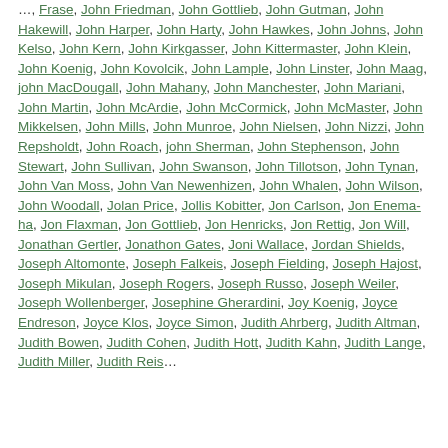…, Frase, John Friedman, John Gottlieb, John Gutman, John Hakewill, John Harper, John Harty, John Hawkes, John Johns, John Kelso, John Kern, John Kirkgasser, John Kittermaster, John Klein, John Koenig, John Kovolcik, John Lample, John Linster, John Maag, john MacDougall, John Mahany, John Manchester, John Mariani, John Martin, John McArdie, John McCormick, John McMaster, John Mikkelsen, John Mills, John Munroe, John Nielsen, John Nizzi, John Repsholdt, John Roach, john Sherman, John Stephenson, John Stewart, John Sullivan, John Swanson, John Tillotson, John Tynan, John Van Moss, John Van Newenhizen, John Whalen, John Wilson, John Woodall, Jolan Price, Jollis Kobitter, Jon Carlson, Jon Enema-ha, Jon Flaxman, Jon Gottlieb, Jon Henricks, Jon Rettig, Jon Will, Jonathan Gertler, Jonathon Gates, Joni Wallace, Jordan Shields, Joseph Altomonte, Joseph Falkeis, Joseph Fielding, Joseph Hajost, Joseph Mikulan, Joseph Rogers, Joseph Russo, Joseph Weiler, Joseph Wollenberger, Josephine Gherardini, Joy Koenig, Joyce Endreson, Joyce Klos, Joyce Simon, Judith Ahrberg, Judith Altman, Judith Bowen, Judith Cohen, Judith Hott, Judith Kahn, Judith Lange, Judith Miller, Judith Reis…